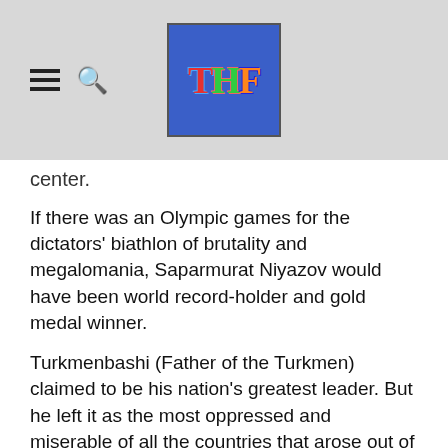THF logo header with navigation icons
center.
If there was an Olympic games for the dictators' biathlon of brutality and megalomania, Saparmurat Niyazov would have been world record-holder and gold medal winner.
Turkmenbashi (Father of the Turkmen) claimed to be his nation's greatest leader. But he left it as the most oppressed and miserable of all the countries that arose out of the ruins of the Soviet Union. And far from being the world statesman and thinker that his propaganda machine portrayed him, he was derided the world over for his ludicrous personality cult and insane self-importance.
There are plenty of jokes about Turkmenbashi. His habit of naming most prominent landmarks (and the country's main port) after himself made giving directions difficult.
How do you get to Turkmenbashi bus station? You go up